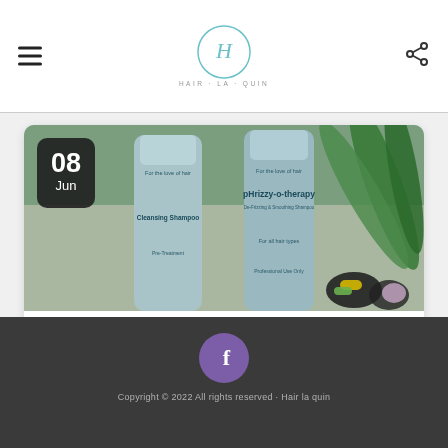Hair-la-quin logo header with menu and share icons
[Figure (photo): Close-up photo of two light blue cylindrical hair product bottles (Cleansing Shampoo and pHrizzy-o-therapy De-Frizzing & Smoothing Shampoo) with green tropical leaves in the background and some hair clips. A dark date badge shows 08 Jun.]
Blog | 72 Hair pHrizzy-o-therapy De-Frizzing & Smoothing Shampoo
Copyright © 2022 All rights reserved - Hair la quin